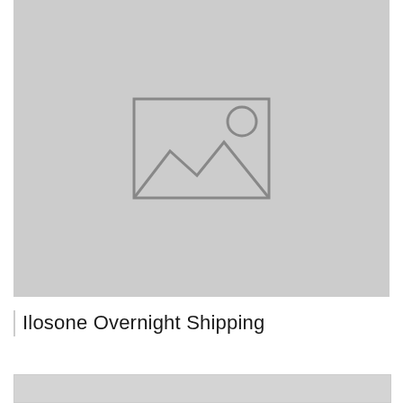[Figure (illustration): Placeholder image with gray background and image icon (mountain landscape with sun outline) centered in the upper portion of the page]
Ilosone Overnight Shipping
[Figure (other): Gray bar at the bottom of the page, partially visible]